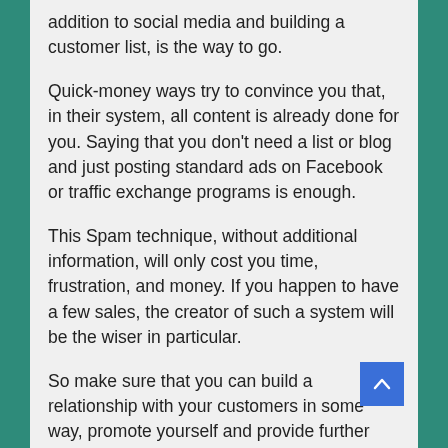addition to social media and building a customer list, is the way to go.
Quick-money ways try to convince you that, in their system, all content is already done for you. Saying that you don't need a list or blog and just posting standard ads on Facebook or traffic exchange programs is enough.
This Spam technique, without additional information, will only cost you time, frustration, and money. If you happen to have a few sales, the creator of such a system will be the wiser in particular.
So make sure that you can build a relationship with your customers in some way, promote yourself and provide further information.
If you have no idea where to start, I would like to